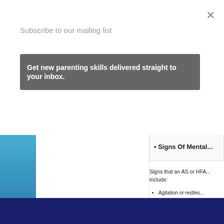×
Subscribe to our mailing list
Get new parenting skills delivered straight to your inbox.
Signs Of Mental...
Signs that an AS or HFA... include:
Agitation or restles...
Angry outbursts
Changes in appeti...
Crying spells for no...
Distractibility and ...
Fatigue, tiredness a...
Search for
1.   Aspergers Online Test
2.   10 Signs of Aspergers